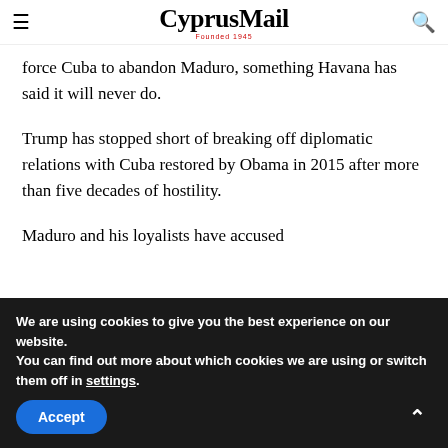CyprusMail Founded 1945
force Cuba to abandon Maduro, something Havana has said it will never do.
Trump has stopped short of breaking off diplomatic relations with Cuba restored by Obama in 2015 after more than five decades of hostility.
Maduro and his loyalists have accused
We are using cookies to give you the best experience on our website.
You can find out more about which cookies we are using or switch them off in settings.
Accept